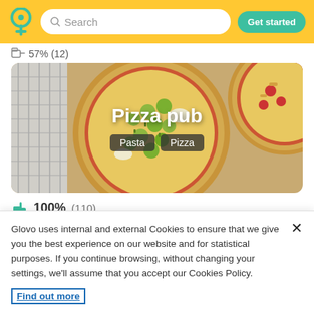[Figure (screenshot): Glovo app header with yellow background, pin logo, search bar, and green 'Get started' button]
57% (12)
[Figure (photo): Pizza pub restaurant card showing two pizzas with text overlay 'Pizza pub' and category tags 'Pasta' and 'Pizza']
100% (110)
Glovo uses internal and external Cookies to ensure that we give you the best experience on our website and for statistical purposes. If you continue browsing, without changing your settings, we'll assume that you accept our Cookies Policy.
Find out more